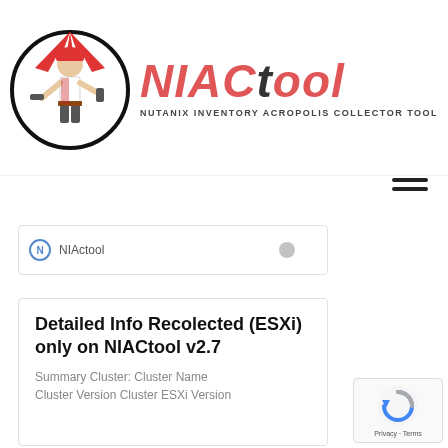[Figure (logo): NIACtool logo: circular emblem with a red and white construction worker figure holding tools, surrounded by radiating lines, with the text NIACtool in large pink/red italic font and subtitle NUTANIX INVENTORY ACROPOLIS COLLECTOR TOOL in small dark uppercase letters]
[Figure (other): Hamburger menu icon: three horizontal dark bars]
[Figure (screenshot): Partially visible card with NIACtool icon and text clipped at top]
Detailed Info Recolected (ESXi) only on NIACtool v2.7
Summary Cluster: Cluster Name Cluster Version Cluster ESXi Version
[Figure (other): reCAPTCHA badge with circular arrow icon and Privacy · Terms text]